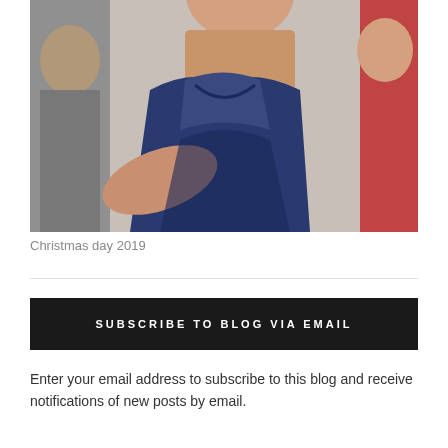[Figure (photo): Photo of people at a beach or outdoor setting on Christmas day 2019. A woman in a navy blue tank top is in the foreground with others visible beside her.]
Christmas day 2019
SUBSCRIBE TO BLOG VIA EMAIL
Enter your email address to subscribe to this blog and receive notifications of new posts by email.